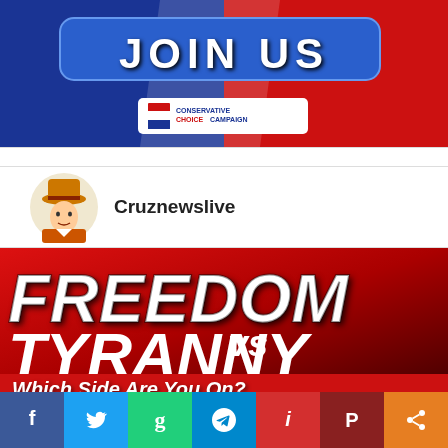[Figure (infographic): Conservative Choice Campaign banner with JOIN US button in blue on red/blue background with American flag imagery and Conservative Choice Campaign logo]
Cruznewslive
[Figure (infographic): Freedom vs Tyranny - Which Side Are You On? graphic with large white bold text on red gradient background]
[Figure (infographic): Social media sharing bar with icons for Facebook, Twitter, Gab, Telegram, MeWe, Parler, and Share]